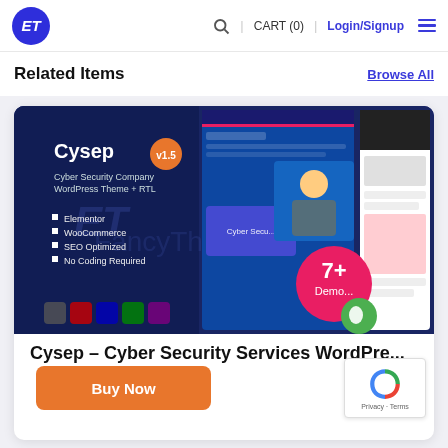ET | CART (0) | Login/Signup
Related Items
Browse All
[Figure (screenshot): Cysep Cyber Security Company WordPress Theme + RTL product preview showing dark blue themed website screenshots with features: Elementor, WooCommerce, SEO Optimized, No Coding Required, v1.5 badge, 7+ Demos badge]
Cysep – Cyber Security Services WordPre...
Buy Now